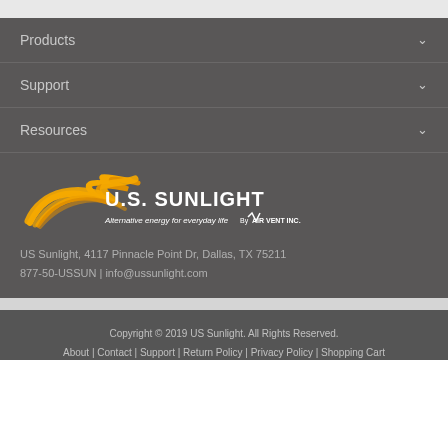Products
Support
Resources
[Figure (logo): U.S. Sunlight logo with yellow swoosh and tagline 'Alternative energy for everyday life' by Air Vent Inc.]
US Sunlight, 4117 Pinnacle Point Dr, Dallas, TX 75211
877-50-USSUN | info@ussunlight.com
Copyright © 2019 US Sunlight. All Rights Reserved.
About | Contact | Support | Return Policy | Privacy Policy | Shopping Cart